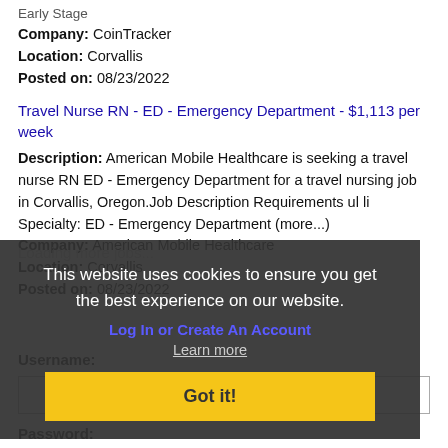Early Stage
Company: CoinTracker
Location: Corvallis
Posted on: 08/23/2022
Travel Nurse RN - ED - Emergency Department - $1,113 per week
Description: American Mobile Healthcare is seeking a travel nurse RN ED - Emergency Department for a travel nursing job in Corvallis, Oregon.Job Description Requirements ul li Specialty: ED - Emergency Department (more...)
Company: American Mobile Healthcare
Location: Corvallis
Posted on: 08/23/2022
Loading more jobs...
This website uses cookies to ensure you get the best experience on our website.
Log In or Create An Account
Learn more
Got it!
Username:
Password: